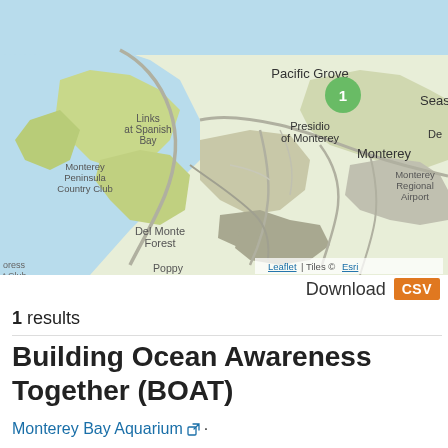[Figure (map): Street/terrain map of the Monterey Peninsula area in California, showing Pacific Grove, Presidio of Monterey, Monterey, Seaside, Del Monte Forest, Poppy Hills, Pebble Beach, Monterey Regional Airport, and other landmarks. A green circle marker labeled '1' is placed near Pacific Grove.]
Download CSV
1 results
Building Ocean Awareness Together (BOAT)
Monterey Bay Aquarium ·